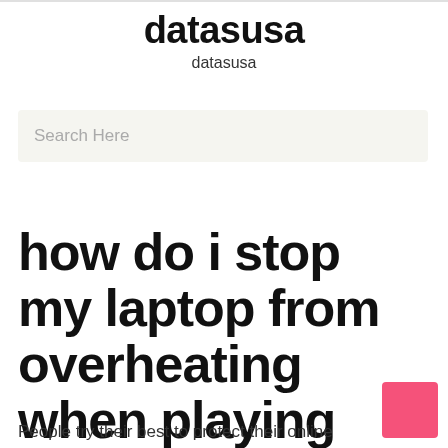datasusa
datasusa
Search Here
how do i stop my laptop from overheating when playing games
People try their best to protect their online